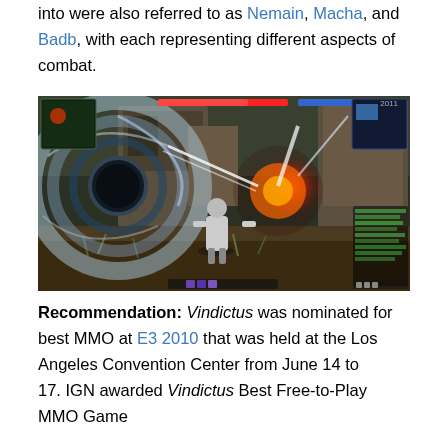into were also referred to as Nemain, Macha, and Badb, with each representing different aspects of combat.
[Figure (screenshot): A screenshot from the video game Vindictus showing a character in combat with a swirling vortex effect, explosions, and ruins in the background. The game's UI elements are visible including health bars at the top and skill bars at the bottom.]
Recommendation: Vindictus was nominated for best MMO at E3 2010 that was held at the Los Angeles Convention Center from June 14 to 17. IGN awarded Vindictus Best Free-to-Play MMO Game